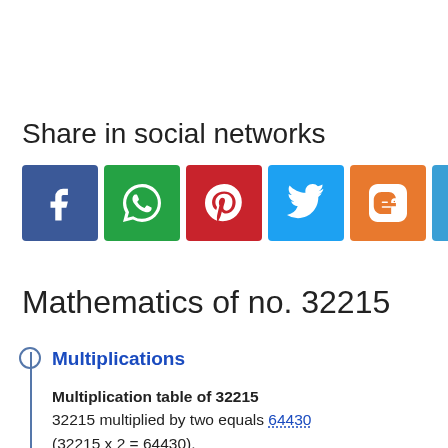Share in social networks
[Figure (infographic): Row of 7 social media share buttons: Facebook (blue), WhatsApp (green), Pinterest (red), Twitter (light blue), Blogger (orange), Link/Copy (blue), Star/Bookmark (yellow)]
Mathematics of no. 32215
Multiplications
Multiplication table of 32215
32215 multiplied by two equals 64430 (32215 x 2 = 64430).
32215 multiplied by three equals 96645 (32215 x 3 = 96645).